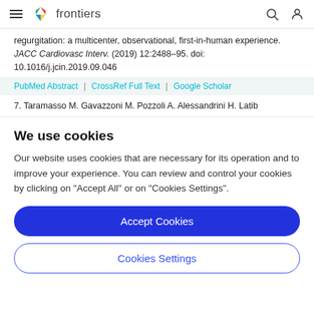frontiers
regurgitation: a multicenter, observational, first-in-human experience. JACC Cardiovasc Interv. (2019) 12:2488–95. doi: 10.1016/j.jcin.2019.09.046
PubMed Abstract | CrossRef Full Text | Google Scholar
7. Taramasso M. Gavazzoni M. Pozzoli A. Alessandrini H. Latib
We use cookies
Our website uses cookies that are necessary for its operation and to improve your experience. You can review and control your cookies by clicking on "Accept All" or on "Cookies Settings".
Accept Cookies
Cookies Settings